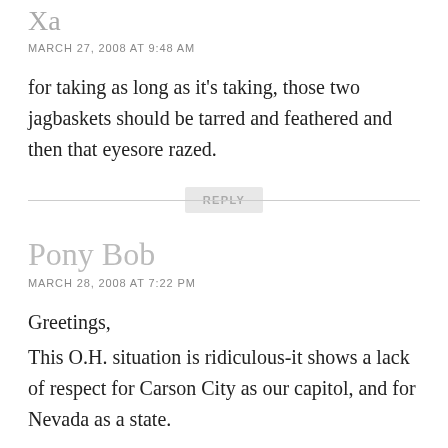Xa
MARCH 27, 2008 AT 9:48 AM
for taking as long as it’s taking, those two jagbaskets should be tarred and feathered and then that eyesore razed.
REPLY
Pony Bob
MARCH 28, 2008 AT 7:22 PM
Greetings,
This O.H. situation is ridiculous-it shows a lack of respect for Carson City as our capitol, and for Nevada as a state.